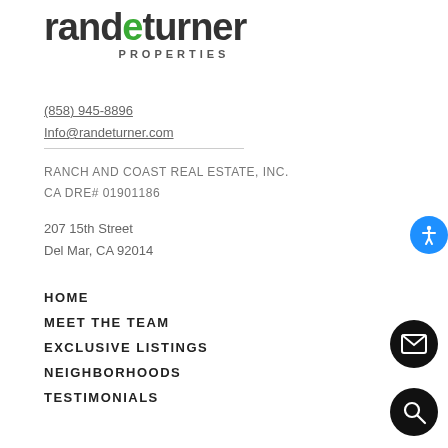randeturner PROPERTIES
(858) 945-8896
Info@randeturner.com
RANCH AND COAST REAL ESTATE, INC.
CA DRE# 01901186
207 15th Street
Del Mar, CA 92014
HOME
MEET THE TEAM
EXCLUSIVE LISTINGS
NEIGHBORHOODS
TESTIMONIALS